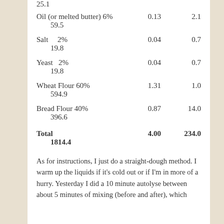| Ingredient | Col1 | Col2 | Col3 |
| --- | --- | --- | --- |
| Oil (or melted butter) 6% | 0.13 | 2.1 | 59.5 |
| Salt 2% | 0.04 | 0.7 | 19.8 |
| Yeast 2% | 0.04 | 0.7 | 19.8 |
| Wheat Flour 60% | 1.31 | 1.0 | 594.9 |
| Bread Flour 40% | 0.87 | 14.0 | 396.6 |
| Total | 4.00 | 234.0 | 1814.4 |
As for instructions, I just do a straight-dough method. I warm up the liquids if it's cold out or if I'm in more of a hurry. Yesterday I did a 10 minute autolyse between about 5 minutes of mixing (before and after), which